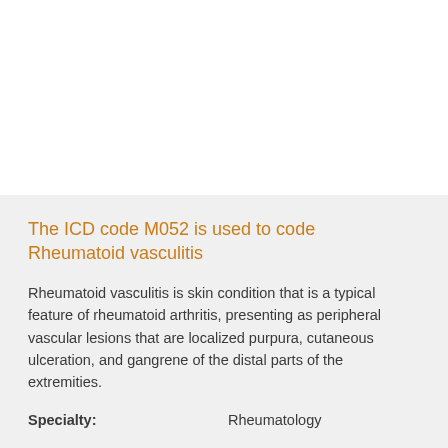The ICD code M052 is used to code Rheumatoid vasculitis
Rheumatoid vasculitis is skin condition that is a typical feature of rheumatoid arthritis, presenting as peripheral vascular lesions that are localized purpura, cutaneous ulceration, and gangrene of the distal parts of the extremities.
Specialty: Rheumatology